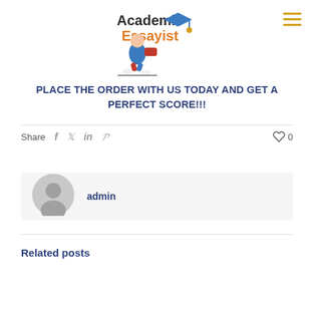[Figure (logo): Academic Essayist logo with cartoon student running and graduation cap text]
PLACE THE ORDER WITH US TODAY AND GET A PERFECT SCORE!!!
Share  f  t  in  P  ♡ 0
admin
Related posts